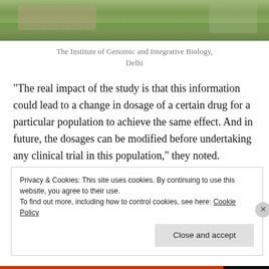[Figure (photo): Partial view of the Institute of Genomic and Integrative Biology building with green hedges and stone structure]
The Institute of Genomic and Integrative Biology, Delhi
“The real impact of the study is that this information could lead to a change in dosage of a certain drug for a particular population to achieve the same effect.  And in future, the dosages can be modified before undertaking any clinical trial in this population,” they noted.
Privacy & Cookies: This site uses cookies. By continuing to use this website, you agree to their use.
To find out more, including how to control cookies, see here: Cookie Policy